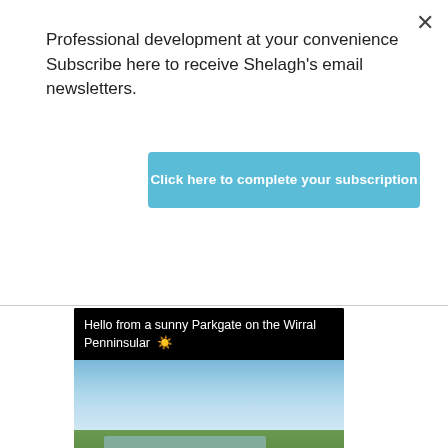Professional development at your convenience Subscribe here to receive Shelagh's email newsletters.
Click here to complete your subscription
[Figure (screenshot): Tweet card with black background showing text: 'Hello from a sunny Parkgate on the Wirral Penninsular ☀️', a landscape photo of marshland/estuary with blue sky and clouds, reaction counts (1 comment, 9 likes), and a profile row showing Shelagh D... @... · Aug 13 with Twitter bird logo]